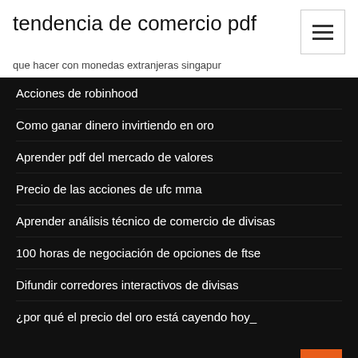tendencia de comercio pdf
que hacer con monedas extranjeras singapur
Acciones de robinhood
Como ganar dinero invirtiendo en oro
Aprender pdf del mercado de valores
Precio de las acciones de ufc mma
Aprender análisis técnico de comercio de divisas
100 horas de negociación de opciones de ftse
Difundir corredores interactivos de divisas
¿por qué el precio del oro está cayendo hoy_
Featured Posts